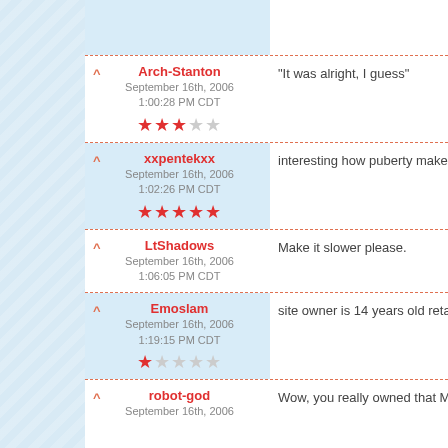Arch-Stanton | September 16th, 2006 1:00:28 PM CDT | Rating: 3/5 | "It was alright, I guess"
xxpentekxx | September 16th, 2006 1:02:26 PM CDT | Rating: 5/5 | interesting how puberty makes e
LtShadows | September 16th, 2006 1:06:05 PM CDT | Make it slower please.
Emoslam | September 16th, 2006 1:19:15 PM CDT | Rating: 1/5 | site owner is 14 years old retard
robot-god | September 16th, 2006 | Wow, you really owned that Mys